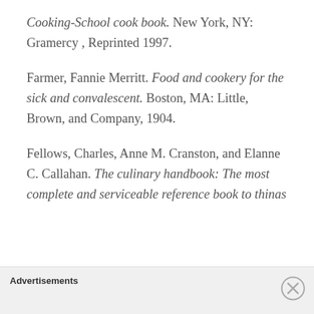Cooking-School cook book. New York, NY: Gramercy , Reprinted 1997.
Farmer, Fannie Merritt. Food and cookery for the sick and convalescent. Boston, MA: Little, Brown, and Company, 1904.
Fellows, Charles, Anne M. Cranston, and Elanne C. Callahan. The culinary handbook: The most complete and serviceable reference book to things
Advertisements